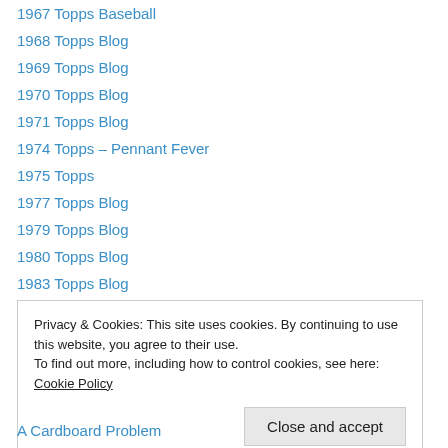1967 Topps Baseball
1968 Topps Blog
1969 Topps Blog
1970 Topps Blog
1971 Topps Blog
1974 Topps – Pennant Fever
1975 Topps
1977 Topps Blog
1979 Topps Blog
1980 Topps Blog
1983 Topps Blog
1985 Topps Blog
1986 Topps Blog
Privacy & Cookies: This site uses cookies. By continuing to use this website, you agree to their use.
To find out more, including how to control cookies, see here: Cookie Policy
Close and accept
A Cardboard Problem